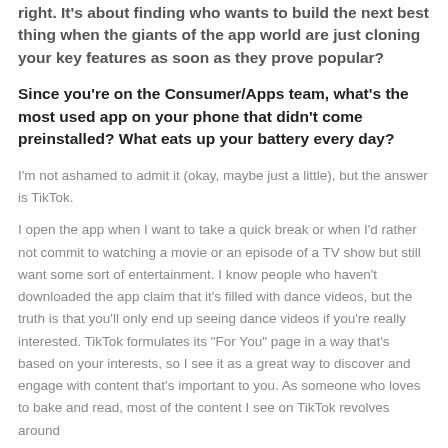right. It's about finding who wants to build the next best thing when the giants of the app world are just cloning your key features as soon as they prove popular?
Since you're on the Consumer/Apps team, what's the most used app on your phone that didn't come preinstalled? What eats up your battery every day?
I'm not ashamed to admit it (okay, maybe just a little), but the answer is TikTok.
I open the app when I want to take a quick break or when I'd rather not commit to watching a movie or an episode of a TV show but still want some sort of entertainment. I know people who haven't downloaded the app claim that it's filled with dance videos, but the truth is that you'll only end up seeing dance videos if you're really interested. TikTok formulates its "For You" page in a way that's based on your interests, so I see it as a great way to discover and engage with content that's important to you. As someone who loves to bake and read, most of the content I see on TikTok revolves around